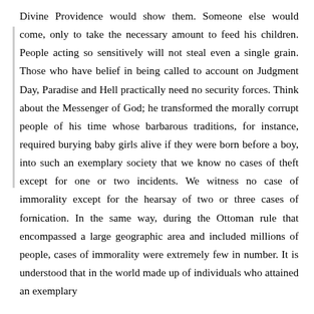Divine Providence would show them. Someone else would come, only to take the necessary amount to feed his children. People acting so sensitively will not steal even a single grain. Those who have belief in being called to account on Judgment Day, Paradise and Hell practically need no security forces. Think about the Messenger of God; he transformed the morally corrupt people of his time whose barbarous traditions, for instance, required burying baby girls alive if they were born before a boy, into such an exemplary society that we know no cases of theft except for one or two incidents. We witness no case of immorality except for the hearsay of two or three cases of fornication. In the same way, during the Ottoman rule that encompassed a large geographic area and included millions of people, cases of immorality were extremely few in number. It is understood that in the world made up of individuals who attained an exemplary